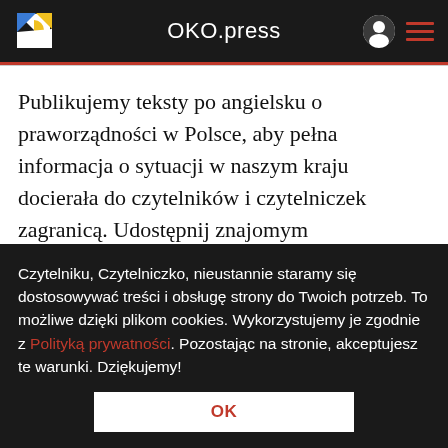OKO.press
Publikujemy teksty po angielsku o praworządności w Polsce, aby pełna informacja o sytuacji w naszym kraju docierała do czytelników i czytelniczek zagranicą. Udostępnij znajomym mieszkającym poza Polską. #RuleOfLawPL
W tekście „Rząd do Rady Europejskiej, Komisji i
Czytelniku, Czytelniczko, nieustannie staramy się dostosowywać treści i obsługę strony do Twoich potrzeb. To możliwe dzięki plikom cookies. Wykorzystujemy je zgodnie z Polityką prywatności. Pozostając na stronie, akceptujesz te warunki. Dziękujemy!
OK